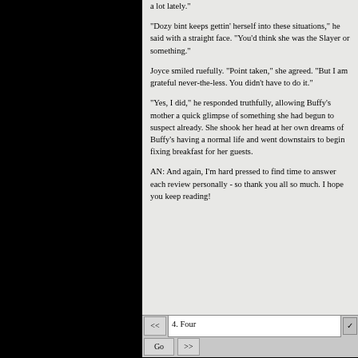a lot lately.
“Dozy bint keeps gettin’ herself into these situations,” he said with a straight face. “You’d think she was the Slayer or something.”
Joyce smiled ruefully. “Point taken,” she agreed. “But I am grateful never-the-less. You didn’t have to do it.”
“Yes, I did,” he responded truthfully, allowing Buffy’s mother a quick glimpse of something she had begun to suspect already. She shook her head at her own dreams of Buffy’s having a normal life and went downstairs to begin fixing breakfast for her guests.
AN: And again, I’m hard pressed to find time to answer each review personally - so thank you all so much. I hope you keep reading!
<< 4. Four  Go >>